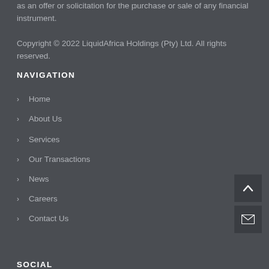as an offer or solicitation for the purchase or sale of any financial instrument.
Copyright © 2022 LiquidAfrica Holdings (Pty) Ltd. All rights reserved.
NAVIGATION
Home
About Us
Services
Our Transactions
News
Careers
Contact Us
SOCIAL